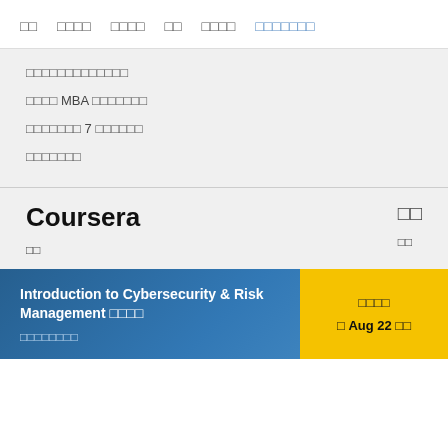□□ □□□□ □□□□ □□ □□□□ □□□□□□□
□□□□□□□□□□□□□
□□□□ MBA □□□□□□□
□□□□□□□ 7 □□□□□□
□□□□□□□
Coursera
□□
□□
□□
Introduction to Cybersecurity & Risk Management □□□□ □□□□□□□□□
□□□□
□ Aug 22 □□